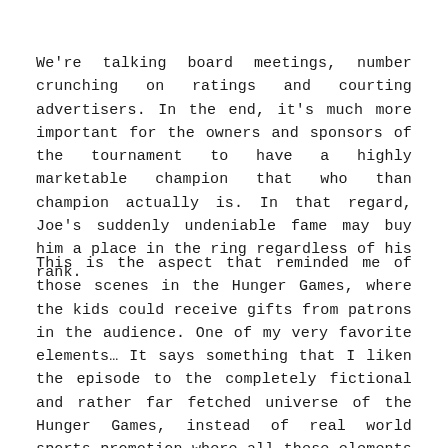We're talking board meetings, number crunching on ratings and courting advertisers. In the end, it's much more important for the owners and sponsors of the tournament to have a highly marketable champion that who than champion actually is. In that regard, Joe's suddenly undeniable fame may buy him a place in the ring regardless of his rank.
This is the aspect that reminded me of those scenes in the Hunger Games, where the kids could receive gifts from patrons in the audience. One of my very favorite elements… It says something that I liken the episode to the completely fictional and rather far fetched universe of the Hunger Games, instead of real world sports promotion where all these elements are a daily reality.